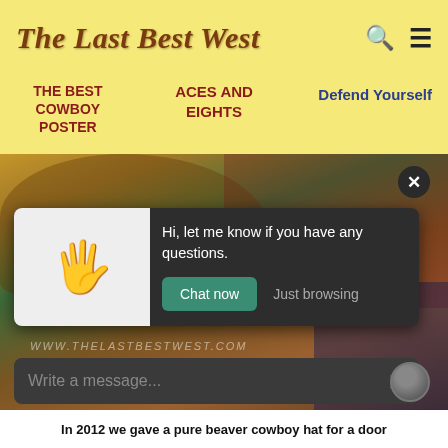The Last Best West
THE BEST COWBOY POSTER
ACES AND EIGHTS
Defend Yourself
[Figure (screenshot): Website screenshot showing a chat popup overlay on an image of cowboy hats and western items. The chat popup has a hand wave emoji on the left, a message 'Hi, let me know if you have any questions.' with 'Chat now' and 'Just browsing' buttons, and a message input bar at the bottom reading 'Write a message...']
In 2012 we gave a pure beaver cowboy hat for a door